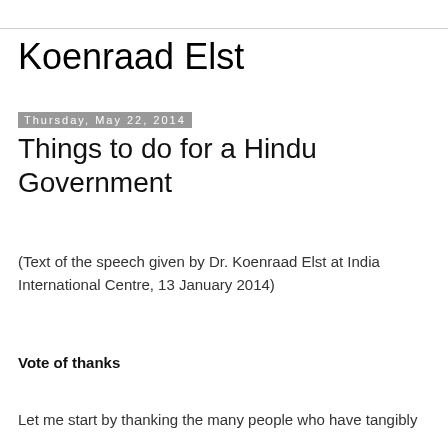Koenraad Elst
Thursday, May 22, 2014
Things to do for a Hindu Government
(Text of the speech given by Dr. Koenraad Elst at India International Centre, 13 January 2014)
Vote of thanks
Let me start by thanking the many people who have tangibly